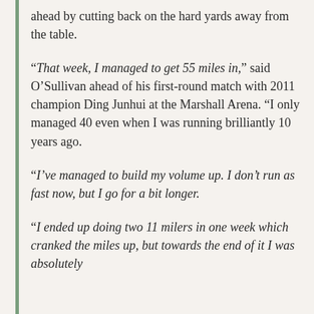ahead by cutting back on the hard yards away from the table.
“That week, I managed to get 55 miles in,” said O’Sullivan ahead of his first-round match with 2011 champion Ding Junhui at the Marshall Arena. “I only managed 40 even when I was running brilliantly 10 years ago.
“I’ve managed to build my volume up. I don’t run as fast now, but I go for a bit longer.
“I ended up doing two 11 milers in one week which cranked the miles up, but towards the end of it I was absolutely